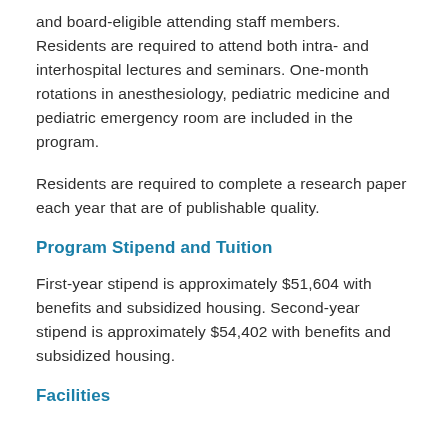and board-eligible attending staff members. Residents are required to attend both intra- and interhospital lectures and seminars. One-month rotations in anesthesiology, pediatric medicine and pediatric emergency room are included in the program.
Residents are required to complete a research paper each year that are of publishable quality.
Program Stipend and Tuition
First-year stipend is approximately $51,604 with benefits and subsidized housing. Second-year stipend is approximately $54,402 with benefits and subsidized housing.
Facilities